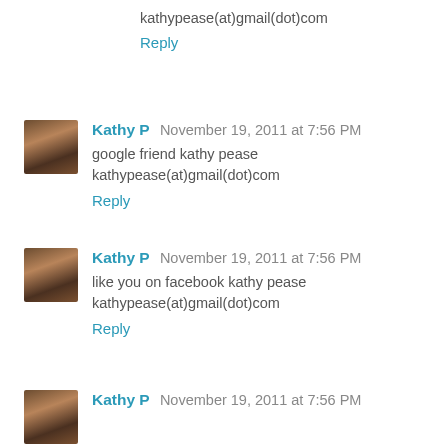kathypease(at)gmail(dot)com
Reply
Kathy P  November 19, 2011 at 7:56 PM
google friend kathy pease kathypease(at)gmail(dot)com
Reply
Kathy P  November 19, 2011 at 7:56 PM
like you on facebook kathy pease kathypease(at)gmail(dot)com
Reply
Kathy P  November 19, 2011 at 7:56 PM
follow on twitter kathy pease...